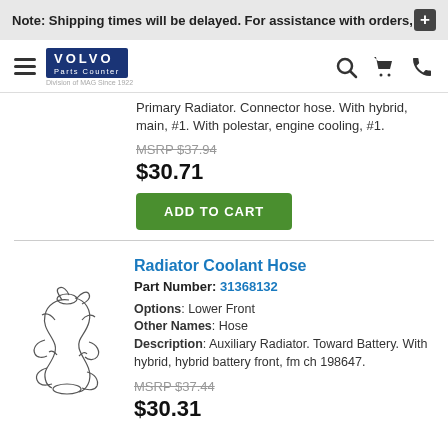Note: Shipping times will be delayed. For assistance with orders,
[Figure (logo): Volvo Parts Counter logo - Division of MAG Since 1922]
Primary Radiator. Connector hose. With hybrid, main, #1. With polestar, engine cooling, #1.
MSRP $37.94
$30.71
ADD TO CART
Radiator Coolant Hose
Part Number: 31368132
Options: Lower Front
Other Names: Hose
Description: Auxiliary Radiator. Toward Battery. With hybrid, hybrid battery front, fm ch 198647.
MSRP $37.44
$30.31